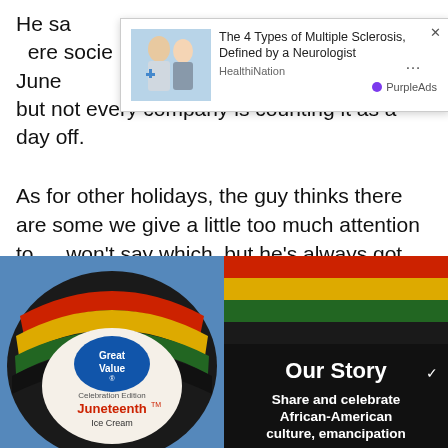He sa... ere socie... June...ized, but not every company is counting it as a day off.
[Figure (screenshot): Ad popup overlay showing 'The 4 Types of Multiple Sclerosis, Defined by a Neurologist' from HealthiNation, with a photo of two women and PurpleAds branding. Close X button and ellipsis visible.]
As for other holidays, the guy thinks there are some we give a little too much attention to … won't say which, but he's always got Juneteenth on his mind.
[Figure (photo): Two side-by-side photos of the Great Value Juneteenth Ice Cream Celebration Edition product. Left photo shows the circular lid with pan-African colored stripes (red, black, green, yellow) and the 'Great Value' logo, with text 'Celebration Edition Juneteenth TM Ice Cream'. Right photo shows the back of the container with 'Our Story' header and text 'Share and celebrate African-American culture, emancipation...']